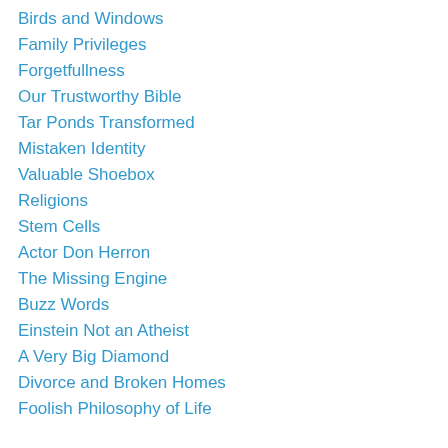Birds and Windows
Family Privileges
Forgetfullness
Our Trustworthy Bible
Tar Ponds Transformed
Mistaken Identity
Valuable Shoebox
Religions
Stem Cells
Actor Don Herron
The Missing Engine
Buzz Words
Einstein Not an Atheist
A Very Big Diamond
Divorce and Broken Homes
Foolish Philosophy of Life